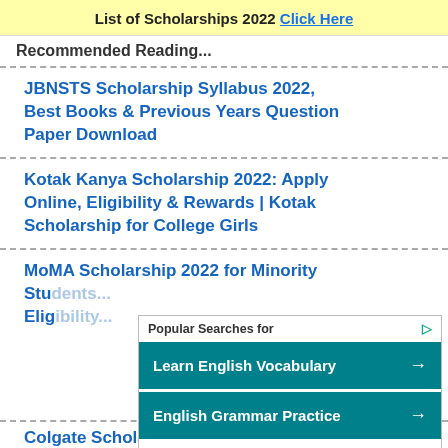List of Scholarships 2022 Click Here
Recommended Reading...
JBNSTS Scholarship Syllabus 2022, Best Books & Previous Years Question Paper Download
Kotak Kanya Scholarship 2022: Apply Online, Eligibility & Rewards | Kotak Scholarship for College Girls
MoMA Scholarship 2022 for Minority Students Eligibility...
[Figure (screenshot): Ad overlay: Popular Searches for - Learn English Vocabulary, English Grammar Practice (Yahoo! Search | Sponsored)]
Colgate Scholarship 2022: Apply...